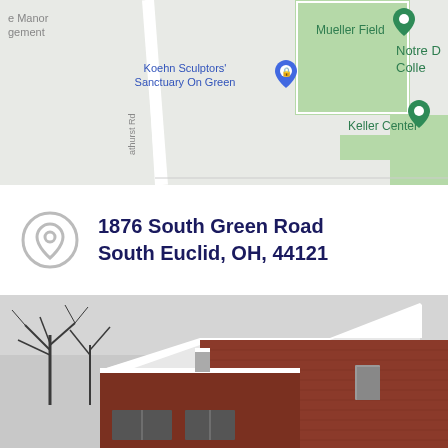[Figure (map): Google Maps screenshot showing area near 1876 South Green Road, South Euclid, OH. Shows Mueller Field, Koehn Sculptors' Sanctuary On Green, Notre Dame College, and Keller Center with map pins.]
1876 South Green Road
South Euclid, OH, 44121
[Figure (photo): Winter exterior photo of a brick building with snow on the roof, bare trees visible in background, overcast sky.]